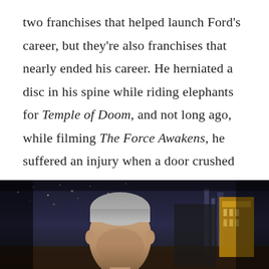two franchises that helped launch Ford's career, but they're also franchises that nearly ended his career. He herniated a disc in his spine while riding elephants for Temple of Doom, and not long ago, while filming The Force Awakens, he suffered an injury when a door crushed him and broke his ankle. At this point I'm convinced Ford is immortal.
[Figure (photo): A man (Harrison Ford) sitting at a late-night TV talk show desk, visible from the shoulders up, with a city skyline backdrop and studio lights in the background. A tall golden building structure is visible to the right.]